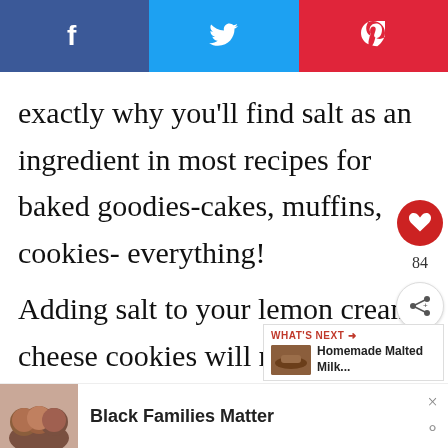[Figure (other): Social sharing bar with Facebook (blue), Twitter (light blue), and Pinterest (red) buttons showing their respective icons]
exactly why you'll find salt as an ingredient in most recipes for baked goodies-cakes, muffins, cookies- everything!

Adding salt to your lemon cream cheese cookies will really bring out those lemony flavors and
[Figure (other): Floating sidebar with red heart button, count '84', and share button]
[Figure (other): WHAT'S NEXT widget showing 'Homemade Malted Milk...' with a small food photo]
[Figure (other): Ad banner at bottom showing a photo of people and text 'Black Families Matter' with close buttons]